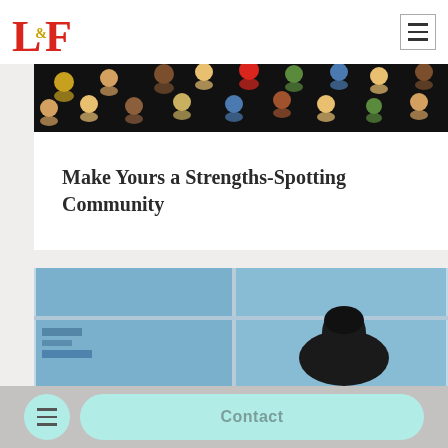L&F logo and navigation
[Figure (illustration): Dark background image with colorful cartoon avatar people/faces scattered across it representing a diverse community]
Make Yours a Strengths-Spotting Community
[Figure (photo): Photo of a person from behind looking through a glass window or building, with blue sky visible]
Contact